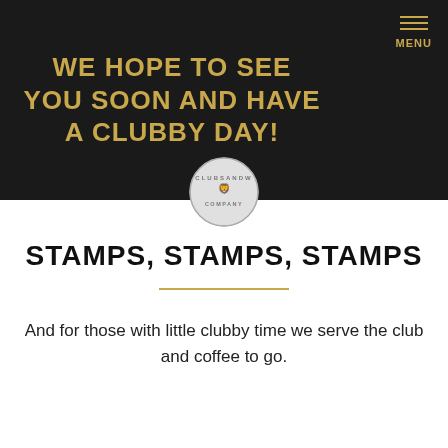WE HOPE TO SEE YOU SOON AND HAVE A CLUBBY DAY!
STAMPS, STAMPS, STAMPS
And for those with little clubby time we serve the club and coffee to go.